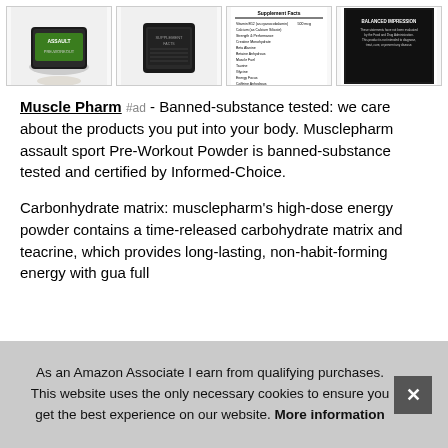[Figure (photo): Four product images of Muscle Pharm Assault pre-workout powder: front view, back view, supplement facts panel, and warning label]
Muscle Pharm #ad - Banned-substance tested: we care about the products you put into your body. Musclepharm assault sport Pre-Workout Powder is banned-substance tested and certified by Informed-Choice.
Carbonhydrate matrix: musclepharm's high-dose energy powder contains a time-released carbohydrate matrix and teacrine, which provides long-lasting, non-habit-forming energy with [partially obscured] gua[rantee partially obscured] full [partially obscured]
As an Amazon Associate I earn from qualifying purchases. This website uses the only necessary cookies to ensure you get the best experience on our website. More information